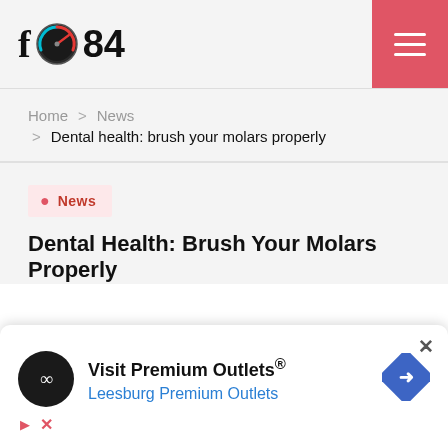f 84 [navigation menu]
Home > News > Dental health: brush your molars properly
News
Dental Health: Brush Your Molars Properly
[Figure (screenshot): Advertisement popup: Visit Premium Outlets® - Leesburg Premium Outlets, with close button (×)]